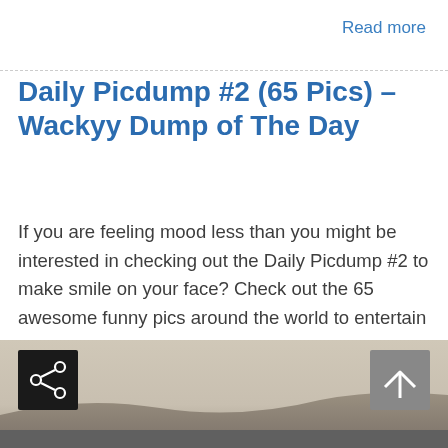Read more
Daily Picdump #2 (65 Pics) – Wackyy Dump of The Day
If you are feeling mood less than you might be interested in checking out the Daily Picdump #2 to make smile on your face? Check out the 65 awesome funny pics around the world to entertain yourself.
[Figure (photo): Partial view of a landscape photo at the bottom of the page with a share button (black) and an up/back-to-top arrow button (grey).]